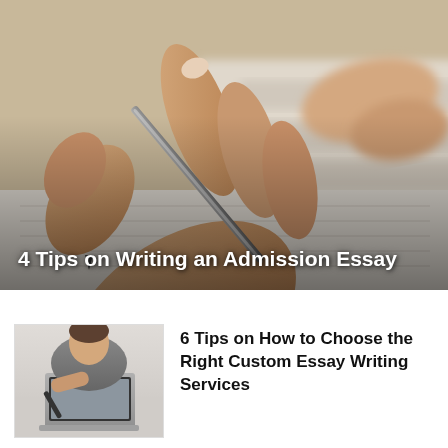[Figure (photo): Close-up photo of hands writing with a pen on paper, with blurred background. White text overlay reads: 4 Tips on Writing an Admission Essay]
4 Tips on Writing an Admission Essay
[Figure (photo): Small thumbnail photo of a person writing/using a laptop, shown in bottom-left of article preview]
6 Tips on How to Choose the Right Custom Essay Writing Services